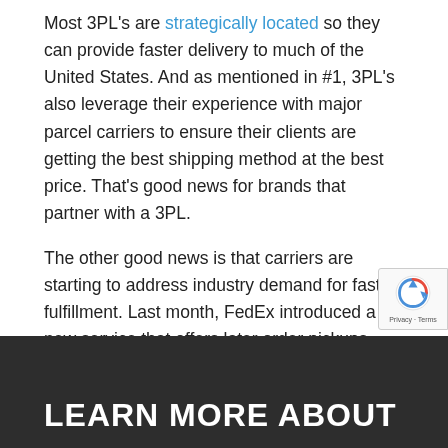Most 3PL's are strategically located so they can provide faster delivery to much of the United States. And as mentioned in #1, 3PL's also leverage their experience with major parcel carriers to ensure their clients are getting the best shipping method at the best price. That's good news for brands that partner with a 3PL.
The other good news is that carriers are starting to address industry demand for faster fulfillment. Last month, FedEx introduced a new service that offers later order pickups, which allows for expansion of next-day delivery in local areas and two-day deliveries within the continental U.S. We can likely expect to hear more news about emerging services such as FedEx's throughout 2019.
LEARN MORE ABOUT